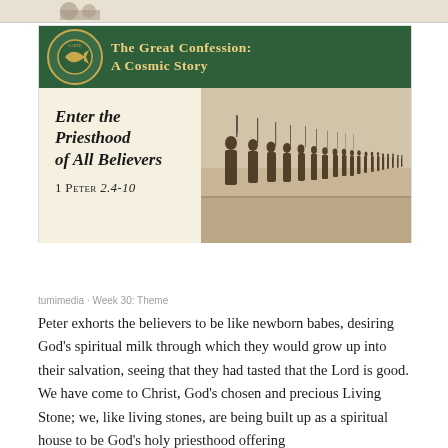[Figure (illustration): Top strip showing partial image of soldiers or figures at the very top of the page]
[Figure (illustration): Banner image for 'The Great Confession: A Cosmic Story' series. Dark green header with fish logo and gold text title. Cream background with bold italic text reading 'Enter the Priesthood of All Believers' and scripture reference '1 Peter 2.4-10'. Right side shows sepia illustration of Roman soldiers in formation.]
tumimedia · Week 30: Theme
Peter exhorts the believers to be like newborn babes, desiring God's spiritual milk through which they would grow up into their salvation, seeing that they had tasted that the Lord is good. We have come to Christ, God's chosen and precious Living Stone; we, like living stones, are being built up as a spiritual house to be God's holy priesthood offering